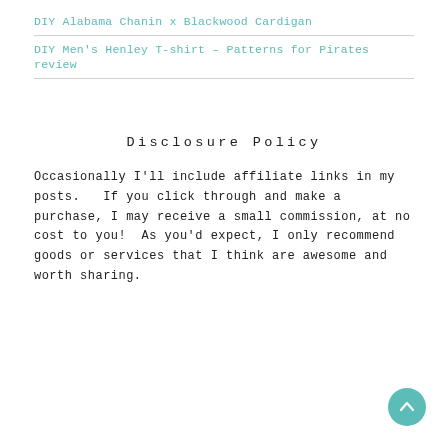DIY Alabama Chanin x Blackwood Cardigan
DIY Men's Henley T-shirt – Patterns for Pirates review
Disclosure Policy
Occasionally I'll include affiliate links in my posts.   If you click through and make a  purchase, I may receive a small commission, at no cost to you!  As you'd expect, I only recommend goods or services that I think are awesome and worth sharing.